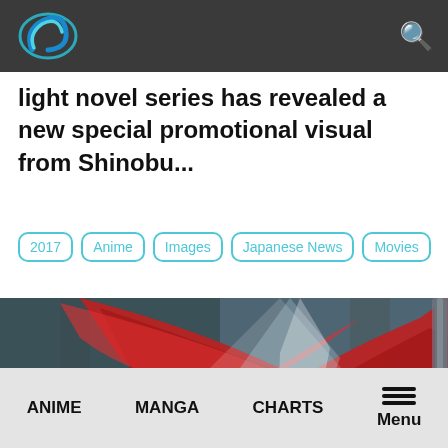light novel series has revealed a new special promotional visual from Shinobu...
2017
Anime
Images
Japanese News
Movies
[Figure (illustration): Anime/game artwork showing an armored warrior figure with dramatic red cape/wings and sword, dark atmospheric background with light rays]
ANIME  MANGA  CHARTS  Menu